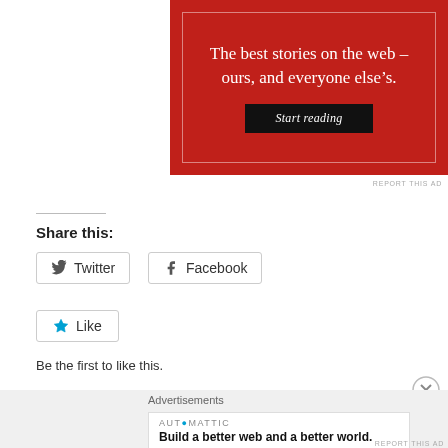[Figure (other): Red advertisement banner with white serif text reading 'The best stories on the web – ours, and everyone else's.' with a black 'Start reading' button]
REPORT THIS AD
Share this:
[Figure (other): Twitter share button]
[Figure (other): Facebook share button]
[Figure (other): Like button with blue star icon]
Be the first to like this.
Advertisements
[Figure (other): Automattic advertisement: Build a better web and a better world.]
REPORT THIS AD